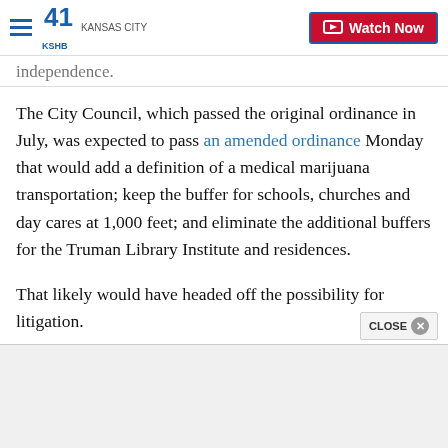41 KSHB KANSAS CITY | Watch Now
independence.
The City Council, which passed the original ordinance in July, was expected to pass an amended ordinance Monday that would add a definition of a medical marijuana transportation; keep the buffer for schools, churches and day cares at 1,000 feet; and eliminate the additional buffers for the Truman Library Institute and residences.
That likely would have headed off the possibility for litigation.